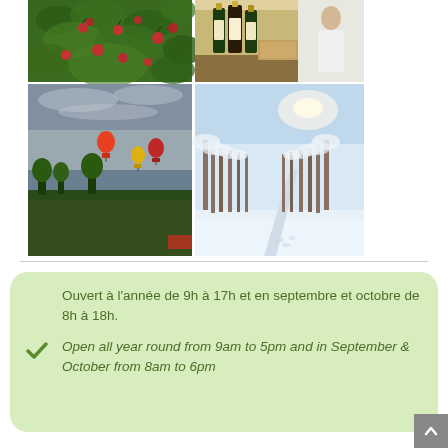[Figure (photo): A 2x2 grid of four photographs: top-left shows cherry or apple tree branches with red fruit and green leaves; top-right shows bottles of products (wine/oil/juice) with a figure in white; bottom-left shows hot air balloons over a green landscape under a cloudy sky; bottom-right shows a snowy orchard path lined with frost-covered trees under a bright sky.]
Ouvert à l'année de 9h à 17h et en septembre et octobre de 8h à 18h.
Open all year round from 9am to 5pm and in September & October from 8am to 6pm